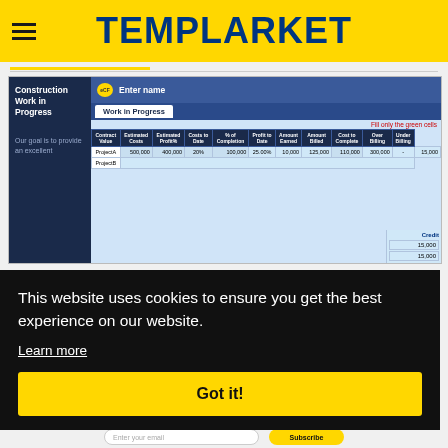TEMPLARKET
[Figure (screenshot): Screenshot of a Construction Work in Progress Excel spreadsheet template from Templarket, showing a dark navy sidebar with 'Construction Work in Progress' label, a spreadsheet with columns for Contract Value, Estimated Costs, Estimated Profit%, Costs to Date, % of Completion, Profit to Date, Amount Earned, Amount Billed, Cost to Complete, Over Billing, Under Billing. Rows show ProjectA with values 500,000; 400,000; 20%; 100,000; 25.00%; 10,000; 125,000; 110,000; 300,000; -; 15,000]
This website uses cookies to ensure you get the best experience on our website.
Learn more
Got it!